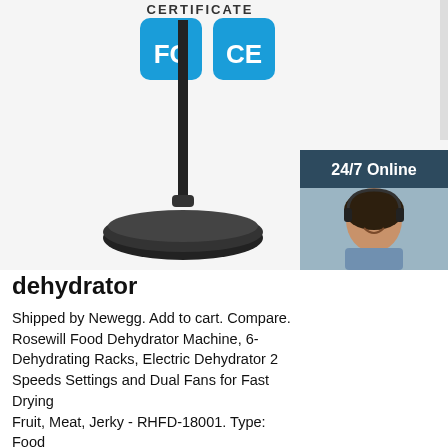[Figure (photo): Product image showing a black microphone stand with a round weighted base, FCC and CE certification badges, and a white automatic hand sanitizer dispenser. A woman with headset for 24/7 online chat support is shown on the right side with a dark blue background panel.]
dehydrator
Shipped by Newegg. Add to cart. Compare. Rosewill Food Dehydrator Machine, 6- Dehydrating Racks, Electric Dehydrator 2 Speeds Settings and Dual Fans for Fast Drying Fruit, Meat, Jerky - RHFD-18001. Type: Food Dehydrators. Features: Includes 6 x Dehydrator Trays (Spacious 15 x 13 in, 304 Stainless Steel)